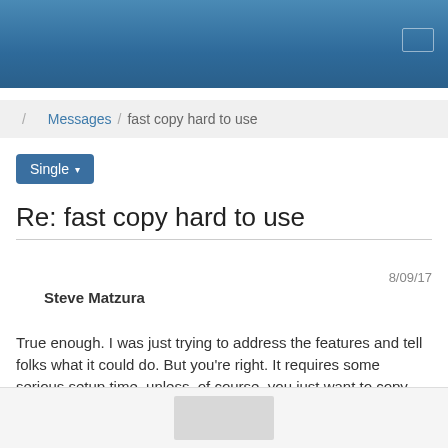[Figure (screenshot): Blue gradient top navigation bar with a small icon in the top right corner]
/ Messages / fast copy hard to use
Single ▾
Re: fast copy hard to use
8/09/17
Steve Matzura
True enough. I was just trying to address the features and tell folks what it could do. But you're right. It requires some serious setup time, unless, of course, you just want to copy one directory and all